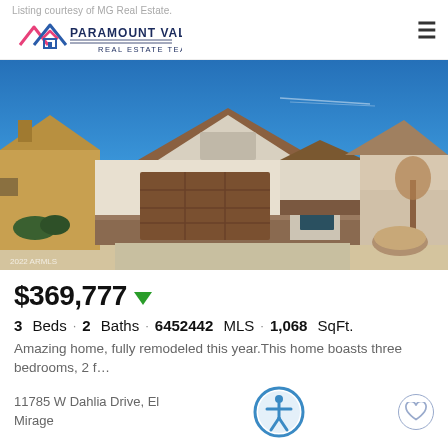Listing courtesy of MG Real Estate. Paramount Valley Real Estate Team
[Figure (photo): Exterior photo of a single-story ranch-style home with brown garage door, stucco exterior, and clear blue sky. Watermark reads 2022 ARMLS.]
$369,777 ▼
3 Beds · 2 Baths · 6452442 MLS · 1,068 SqFt.
Amazing home, fully remodeled this year.This home boasts three bedrooms, 2 f…
11785 W Dahlia Drive, El Mirage